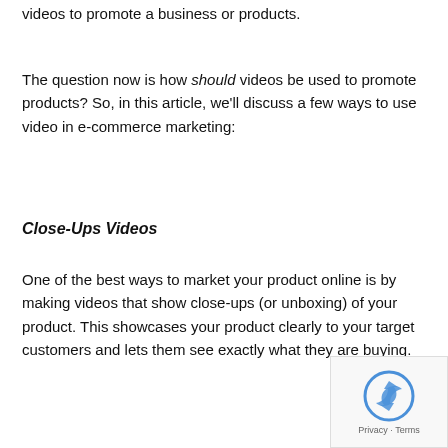videos to promote a business or products.
The question now is how should videos be used to promote products? So, in this article, we'll discuss a few ways to use video in e-commerce marketing:
Close-Ups Videos
One of the best ways to market your product online is by making videos that show close-ups (or unboxing) of your product. This showcases your product clearly to your target customers and lets them see exactly what they are buying.